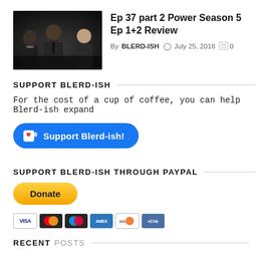[Figure (photo): Three men in dark suits standing against a dark background — promotional photo for Power Season 5]
Ep 37 part 2 Power Season 5 Ep 1+2 Review
By BLERD-ISH  July 25, 2018  0
SUPPORT BLERD-ISH
For the cost of a cup of coffee, you can help Blerd-ish expand
[Figure (illustration): Ko-fi support button: blue rounded button with coffee cup icon saying 'Support Blerd-ish!']
SUPPORT BLERD-ISH THROUGH PAYPAL
[Figure (illustration): PayPal Donate button — yellow rounded button with 'Donate' text, followed by credit card icons (VISA, Mastercard, Maestro, American Express, Discover, bank card)]
RECENT POSTS